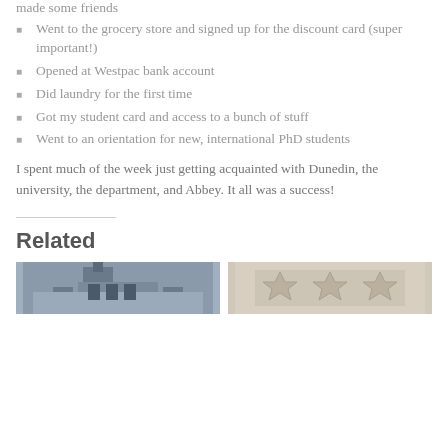made some friends
Went to the grocery store and signed up for the discount card (super important!)
Opened at Westpac bank account
Did laundry for the first time
Got my student card and access to a bunch of stuff
Went to an orientation for new, international PhD students
I spent much of the week just getting acquainted with Dunedin, the university, the department, and Abbey. It all was a success!
Related
[Figure (photo): Photo of a historic stone building, likely a university building in Dunedin]
[Figure (photo): Photo of a decorative textile or quilt with star patterns]